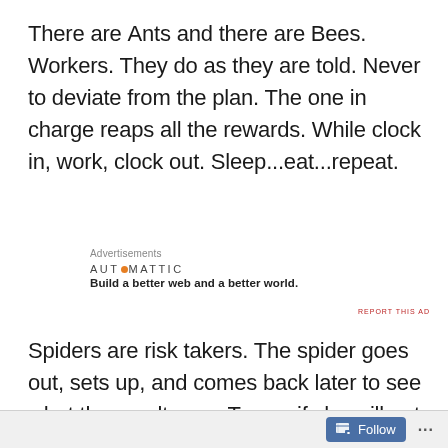There are Ants and there are Bees. Workers. They do as they are told. Never to deviate from the plan. The one in charge reaps all the rewards. While clock in, work, clock out. Sleep...eat...repeat.
Advertisements
AUTOMATTIC
Build a better web and a better world.
REPORT THIS AD
Spiders are risk takers. The spider goes out, sets up, and comes back later to see what the results are. To see if she will eat
Follow